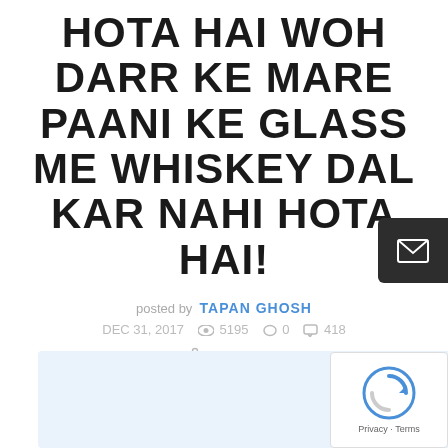HOTA HAI WOH DARR KE MARE PAANI KE GLASS ME WHISKEY DAL KAR NAHI HOTA HAI!
posted by TAPAN GHOSH
DEC 31, 2017  5195  0  418
SHARE
[Figure (other): Light blue advertisement box at the bottom of the page, partially visible]